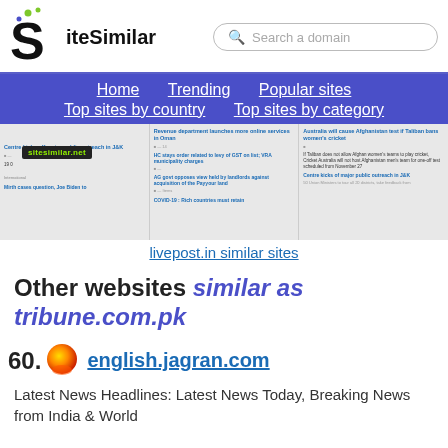[Figure (logo): SiteSimilar logo with stylized S and dots]
Search a domain
Home
Trending
Popular sites
Top sites by country
Top sites by category
[Figure (screenshot): Screenshot of livepost.in news website with watermark sitesimilar.net]
livepost.in similar sites
Other websites similar as tribune.com.pk
60. english.jagran.com
Latest News Headlines: Latest News Today, Breaking News from India & World